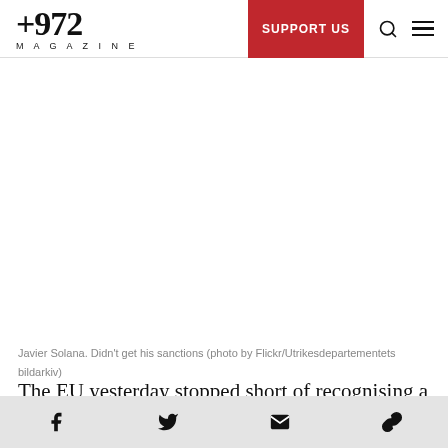+972 MAGAZINE | SUPPORT US
[Figure (photo): Photo area of Javier Solana, large white/blank image area]
Javier Solana. Didn't get his sanctions (photo by Flickr/Utrikesdepartementets bildarkiv)
The EU yesterday stopped short of recognising a Palestinian state, saying it would do so at “the appropriate time”. At a meeting in Brussels, the
Social share icons: Facebook, Twitter, Email, Link